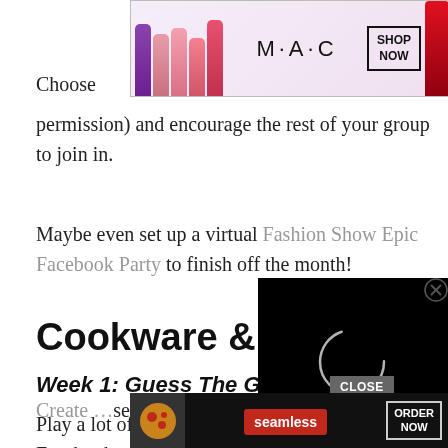[Figure (screenshot): MAC cosmetics advertisement banner with lipsticks, MAC logo, and SHOP NOW button]
Choose
permission) and encourage the rest of your group to join in.
Maybe even set up a virtual Fashion Show Epic Facebook Party to finish off the month!
Cookware & Fo
Week 1: Guess The Gadget
Play a lot of games this week to get your Facebook group engaged.
[Figure (screenshot): Black video player overlay with loading spinner circle and close X button]
Create [link] sed gadget [link] now
[Figure (screenshot): Seamless food delivery advertisement with pizza image, Seamless logo, and ORDER NOW button, with CLOSE button]